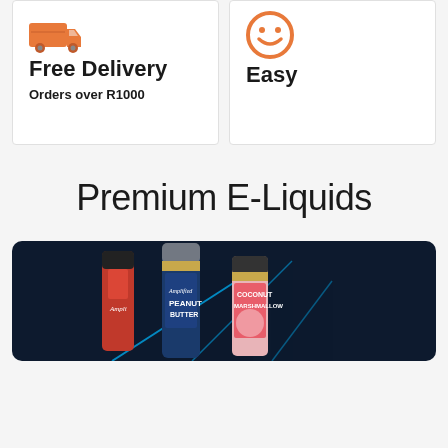[Figure (infographic): Orange delivery truck icon]
Free Delivery
Orders over R1000
[Figure (infographic): Orange smiley face icon with 'Easy' label]
Easy
Premium E-Liquids
[Figure (photo): Product image showing Amplified e-liquid bottles including Peanut Butter and Coconut Marshmallow flavors on a dark background with neon blue lighting]